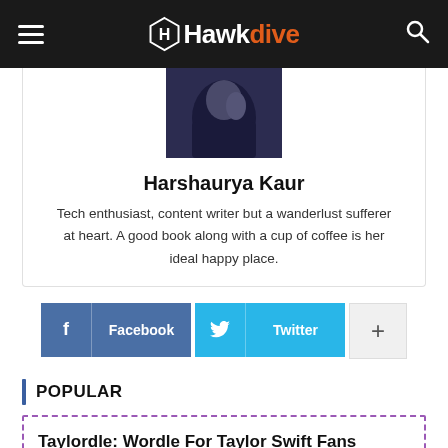Hawkdive
[Figure (photo): Profile photo of Harshaurya Kaur, person shown from behind in dark clothing]
Harshaurya Kaur
Tech enthusiast, content writer but a wanderlust sufferer at heart. A good book along with a cup of coffee is her ideal happy place.
Facebook  Twitter  +
POPULAR
Taylordle: Wordle For Taylor Swift Fans